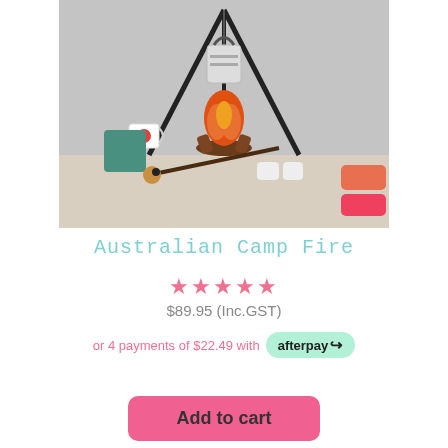[Figure (photo): Product photo of Australian Camp Fire toy set including a campfire, tripod stand with hanging pot, enamel mug, marshmallow roasting sticks, and accessories on a tabletop.]
Australian Camp Fire
★★★★★
$89.95 (Inc.GST)
or 4 payments of $22.49 with afterpay
Add to cart